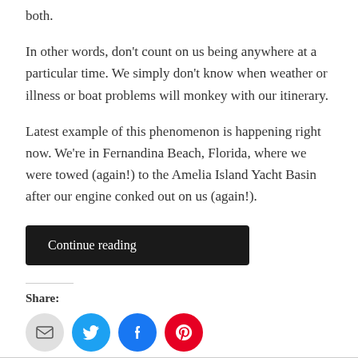both.
In other words, don't count on us being anywhere at a particular time. We simply don't know when weather or illness or boat problems will monkey with our itinerary.
Latest example of this phenomenon is happening right now. We're in Fernandina Beach, Florida, where we were towed (again!) to the Amelia Island Yacht Basin after our engine conked out on us (again!).
Continue reading
Share:
[Figure (infographic): Row of four social media sharing icons: email (grey circle), Twitter (blue circle with bird icon), Facebook (blue circle with f icon), Pinterest (red circle with P icon)]